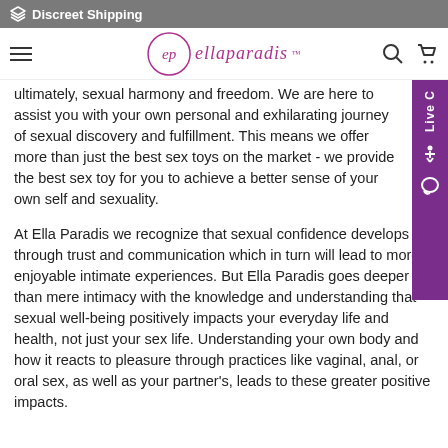Discreet Shipping
[Figure (logo): Ella Paradis logo with ep monogram in circle and 'ellaparadis' text in purple/magenta, with hamburger menu, search, and cart icons]
ultimately, sexual harmony and freedom. We are here to assist you with your own personal and exhilarating journey of sexual discovery and fulfillment. This means we offer more than just the best sex toys on the market - we provide the best sex toy for you to achieve a better sense of your own self and sexuality.
At Ella Paradis we recognize that sexual confidence develops through trust and communication which in turn will lead to more enjoyable intimate experiences. But Ella Paradis goes deeper than mere intimacy with the knowledge and understanding that sexual well-being positively impacts your everyday life and health, not just your sex life. Understanding your own body and how it reacts to pleasure through practices like vaginal, anal, or oral sex, as well as your partner's, leads to these greater positive impacts.